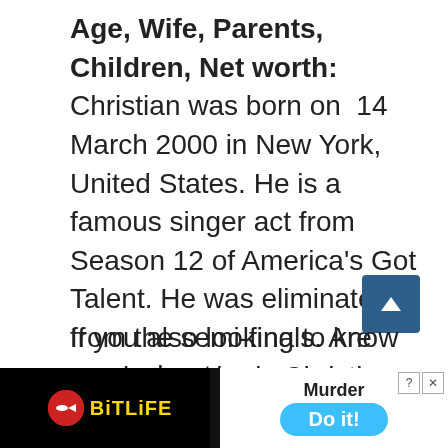Age, Wife, Parents, Children, Net worth: Christian was born on 14 March 2000 in New York, United States. He is a famous singer act from Season 12 of America's Got Talent. He was eliminated from the semi-finals. Are you know who is Christian Guardino? if you do not know about him then we will provide you with all details in this article. Suddenly the whole world is searching for his biography, age, height, weight, and parents.
If you also looking to know more about
[Figure (other): BitLife game advertisement banner with Murder Do it! text and blue button]